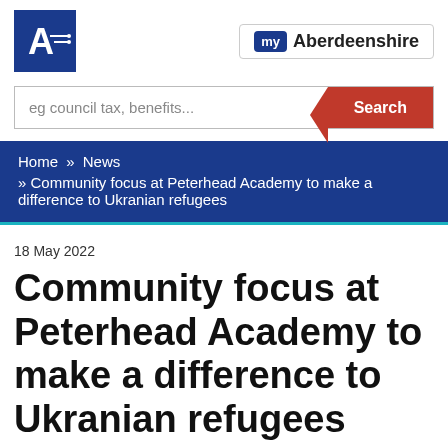[Figure (logo): Aberdeenshire Council logo - white A letter on dark blue background]
[Figure (logo): my Aberdeenshire badge/button with blue badge saying 'my' and bold text 'Aberdeenshire']
eg council tax, benefits...
Search
Home » News » Community focus at Peterhead Academy to make a difference to Ukranian refugees
18 May 2022
Community focus at Peterhead Academy to make a difference to Ukranian refugees